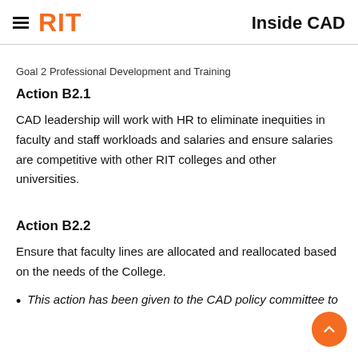RIT | Inside CAD
Goal 2 Professional Development and Training
Action B2.1
CAD leadership will work with HR to eliminate inequities in faculty and staff workloads and salaries and ensure salaries are competitive with other RIT colleges and other universities.
Action B2.2
Ensure that faculty lines are allocated and reallocated based on the needs of the College.
This action has been given to the CAD policy committee to